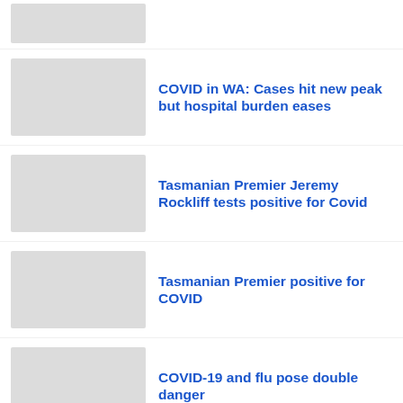[Figure (photo): Placeholder thumbnail image (grey box), partially visible at top]
COVID in WA: Cases hit new peak but hospital burden eases
Tasmanian Premier Jeremy Rockliff tests positive for Covid
Tasmanian Premier positive for COVID
COVID-19 and flu pose double danger
Beijing bends to mass COVID-